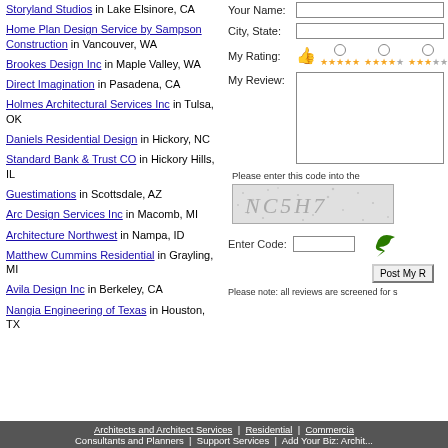Storyland Studios in Lake Elsinore, CA
Home Plan Design Service by Sampson Construction in Vancouver, WA
Brookes Design Inc in Maple Valley, WA
Direct Imagination in Pasadena, CA
Holmes Architectural Services Inc in Tulsa, OK
Daniels Residential Design in Hickory, NC
Standard Bank & Trust CO in Hickory Hills, IL
Guestimations in Scottsdale, AZ
Arc Design Services Inc in Macomb, MI
Architecture Northwest in Nampa, ID
Matthew Cummins Residential in Grayling, MI
Avila Design Inc in Berkeley, CA
Nangia Engineering of Texas in Houston, TX
Your Name:
City, State:
My Rating:
My Review:
[Figure (other): CAPTCHA image showing NC5H7 text in dotted/speckled pattern]
Enter Code:
Post My Review button
Please note: all reviews are screened for s...
You are here: Support » Texas » Carmichael Ar...
Architects and Architect Services | Residential | Commercial | Consultants and Planners | Support Services | Add Your Biz: Archit...